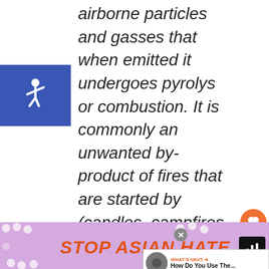airborne particles and gasses that when emitted it undergoes pyrolys or combustion. It is commonly an unwanted by-product of fires that are started by (candles, campfires, etc). It is often a result of burning wood or other organic
[Figure (illustration): Blue square with white wheelchair accessibility symbol icon]
[Figure (illustration): Orange circular heart/like button with count of 4, and orange share button below it]
[Figure (illustration): What's Next promotional overlay with thumbnail image and text 'How Do You Use The...']
[Figure (illustration): Advertisement banner reading 'STOP ASIAN HATE' in orange italic bold text on purple background with flower decorations and anime-style character]